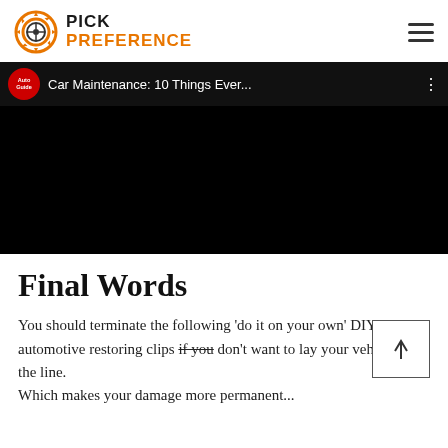PICK PREFERENCE
[Figure (screenshot): YouTube video thumbnail showing 'Car Maintenance: 10 Things Ever...' from AutoGuide channel with black video area]
Final Words
You should terminate the following 'do it on your own' DIY automotive restoring clips if you don't want to lay your vehicle on the line. Which makes your damage more permanent...